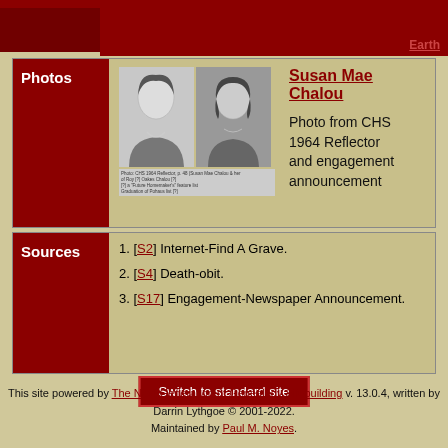Earth
[Figure (photo): Two black and white photos of Susan Mae Chalou - a yearbook photo and an engagement announcement photo]
Susan Mae Chalou
Photo from CHS 1964 Reflector and engagement announcement
1. [S2] Internet-Find A Grave.
2. [S4] Death-obit.
3. [S17] Engagement-Newspaper Announcement.
Switch to standard site
This site powered by The Next Generation of Genealogy Sitebuilding v. 13.0.4, written by Darrin Lythgoe © 2001-2022.
Maintained by Paul M. Noyes.